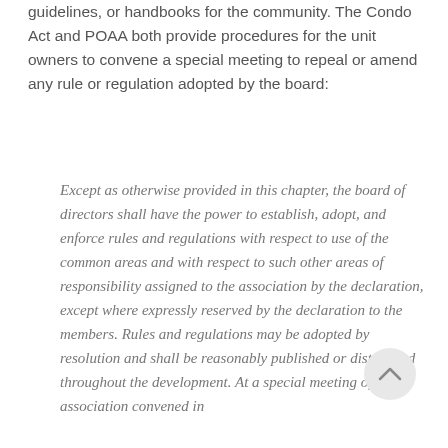guidelines, or handbooks for the community. The Condo Act and POAA both provide procedures for the unit owners to convene a special meeting to repeal or amend any rule or regulation adopted by the board:
Except as otherwise provided in this chapter, the board of directors shall have the power to establish, adopt, and enforce rules and regulations with respect to use of the common areas and with respect to such other areas of responsibility assigned to the association by the declaration, except where expressly reserved by the declaration to the members. Rules and regulations may be adopted by resolution and shall be reasonably published or distributed throughout the development. At a special meeting of the association convened in